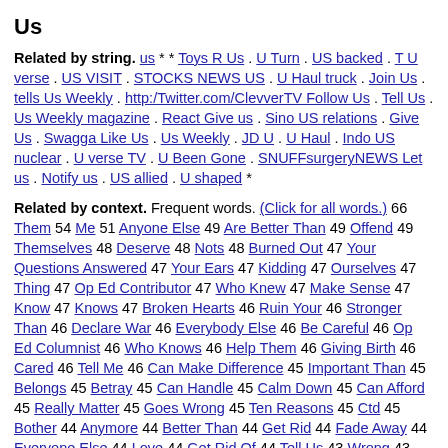Us
Related by string. us * * Toys R Us . U Turn . US backed . T U verse . US VISIT . STOCKS NEWS US . U Haul truck . Join Us . tells Us Weekly . http:/Twitter.com/ClevverTV Follow Us . Tell Us . Us Weekly magazine . React Give us . Sino US relations . Give Us . Swagga Like Us . Us Weekly . JD U . U Haul . Indo US nuclear . U verse TV . U Been Gone . SNUFFsurgeryNEWS Let us . Notify us . US allied . U shaped *
Related by context. Frequent words. (Click for all words.) 66 Them 54 Me 51 Anyone Else 49 Are Better Than 49 Offend 49 Themselves 48 Deserve 48 Nots 48 Burned Out 47 Your Questions Answered 47 Your Ears 47 Kidding 47 Ourselves 47 Thing 47 Op Ed Contributor 47 Who Knew 47 Make Sense 47 Know 47 Knows 47 Broken Hearts 46 Ruin Your 46 Stronger Than 46 Declare War 46 Everybody Else 46 Be Careful 46 Op Ed Columnist 46 Who Knows 46 Help Them 46 Giving Birth 46 Cared 46 Tell Me 46 Can Make Difference 45 Important Than 45 Belongs 45 Betray 45 Can Handle 45 Calm Down 45 Can Afford 45 Really Matter 45 Goes Wrong 45 Ten Reasons 45 Ctd 45 Bother 44 Anymore 44 Better Than 44 Get Rid 44 Fade Away 44 Everyone Else 44 Love 44 Get Rid Of 44 Tell Us 43 Wrong 43 More Than Ever 43 Who Cares 43 Be Wary 43 Wanna Go 43 F * cking 43 Came 43